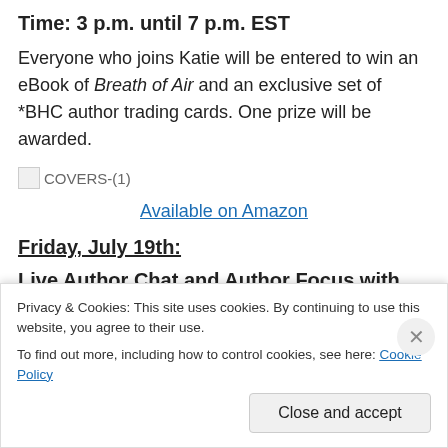Time: 3 p.m. until 7 p.m. EST
Everyone who joins Katie will be entered to win an eBook of Breath of Air and an exclusive set of *BHC author trading cards. One prize will be awarded.
[Figure (other): Broken image placeholder labeled COVERS-(1)]
Available on Amazon
Friday, July 19th:
Live Author Chat and Author Focus with Claire F.
Privacy & Cookies: This site uses cookies. By continuing to use this website, you agree to their use.
To find out more, including how to control cookies, see here: Cookie Policy
Close and accept